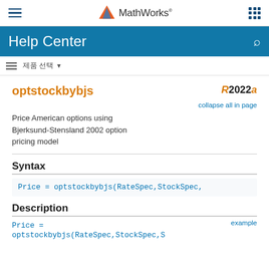MathWorks Help Center
optstockbybjs
Price American options using Bjerksund-Stensland 2002 option pricing model
Syntax
Price = optstockbybjs(RateSpec,StockSpec,
Description
Price =
optstockbybjs(RateSpec,StockSpec,S